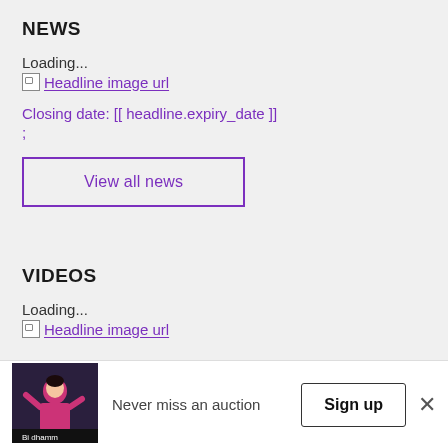NEWS
Loading...
Headline image url
Closing date: [[ headline.expiry_date ]]
;
View all news
VIDEOS
Loading...
Headline image url
Never miss an auction
Sign up